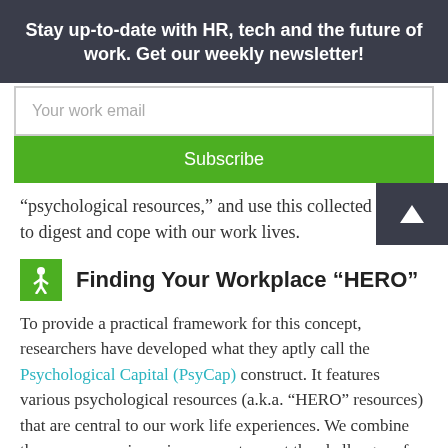Stay up-to-date with HR, tech and the future of work. Get our weekly newsletter!
“psychological resources,” and use this collected ene… to digest and cope with our work lives.
Finding Your Workplace “HERO”
To provide a practical framework for this concept, researchers have developed what they aptly call the Psychological Capital (PsyCap) construct. It features various psychological resources (a.k.a. “HERO” resources) that are central to our work life experiences. We combine these resources in various ways to meet the challenges of our daily work lives.